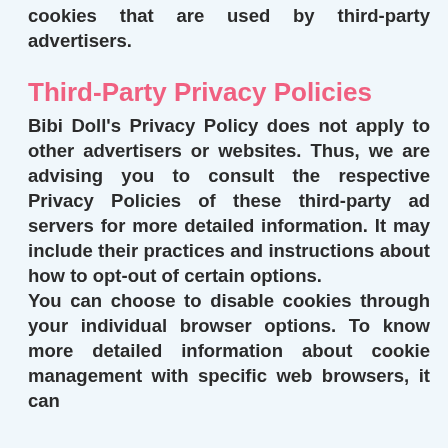cookies that are used by third-party advertisers.
Third-Party Privacy Policies
Bibi Doll's Privacy Policy does not apply to other advertisers or websites. Thus, we are advising you to consult the respective Privacy Policies of these third-party ad servers for more detailed information. It may include their practices and instructions about how to opt-out of certain options.
You can choose to disable cookies through your individual browser options. To know more detailed information about cookie management with specific web browsers, it can